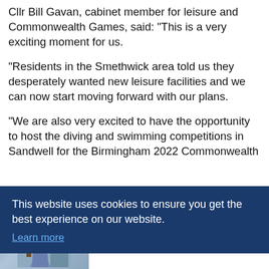Cllr Bill Gavan, cabinet member for leisure and Commonwealth Games, said: “This is a very exciting moment for us.
“Residents in the Smethwick area told us they desperately wanted new leisure facilities and we can now start moving forward with our plans.
“We are also very excited to have the opportunity to host the diving and swimming competitions in Sandwell for the Birmingham 2022 Commonwealth [Games. It’s a great opportu]nity [...]
[Figure (screenshot): Cookie consent banner overlay on the webpage. Dark navy blue background with white text reading: 'This website uses cookies to ensure you get the best experience on our website.' with a 'Learn more' link in light blue.]
[Figure (photo): Advertisement showing a woman and text: 'Just Released: Dental Implants Are Now Free With Medicare. See Options' from Dental Implant | Search Ads | Sponsored]